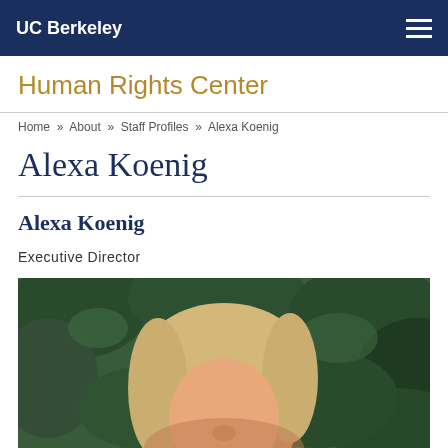UC Berkeley
Human Rights Center
Home » About » Staff Profiles » Alexa Koenig
Alexa Koenig
Alexa Koenig
Executive Director
[Figure (photo): Portrait photo of Alexa Koenig, a woman with blonde hair, photographed outdoors with green foliage in the background.]